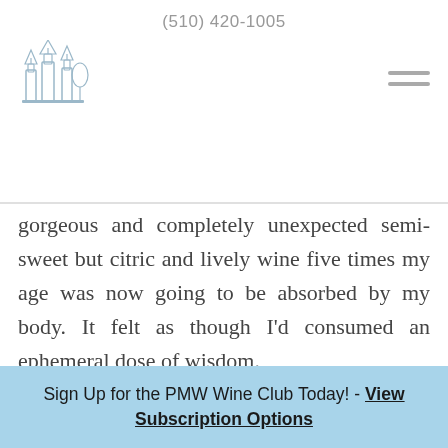(510) 420-1005
[Figure (logo): Wine shop logo with illustrated buildings/bottles in light blue-grey]
gorgeous and completely unexpected semi-sweet but citric and lively wine five times my age was now going to be absorbed by my body. It felt as though I'd consumed an ephemeral dose of wisdom.
I know that's hard to qualify. But trying to
Sign Up for the PMW Wine Club Today! - View Subscription Options